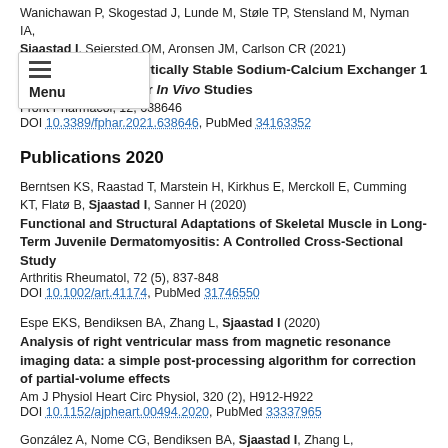Wanichawan P, Skogestad J, Lunde M, Støle TP, Stensland M, Nyman IA, Sjaastad I, Sejersted OM, Aronsen JM, Carlson CR (2021)
Design of a Proteolytically Stable Sodium-Calcium Exchanger 1 Activator Peptide for In Vivo Studies
Front Pharmacol, 12, 638646
DOI 10.3389/fphar.2021.638646, PubMed 34163352
Publications 2020
Berntsen KS, Raastad T, Marstein H, Kirkhus E, Merckoll E, Cumming KT, Flatø B, Sjaastad I, Sanner H (2020)
Functional and Structural Adaptations of Skeletal Muscle in Long-Term Juvenile Dermatomyositis: A Controlled Cross-Sectional Study
Arthritis Rheumatol, 72 (5), 837-848
DOI 10.1002/art.41174, PubMed 31746550
Espe EKS, Bendiksen BA, Zhang L, Sjaastad I (2020)
Analysis of right ventricular mass from magnetic resonance imaging data: a simple post-processing algorithm for correction of partial-volume effects
Am J Physiol Heart Circ Physiol, 320 (2), H912-H922
DOI 10.1152/ajpheart.00494.2020, PubMed 33337965
González A, Nome CG, Bendiksen BA, Sjaastad I, Zhang L, Aleksanderson M